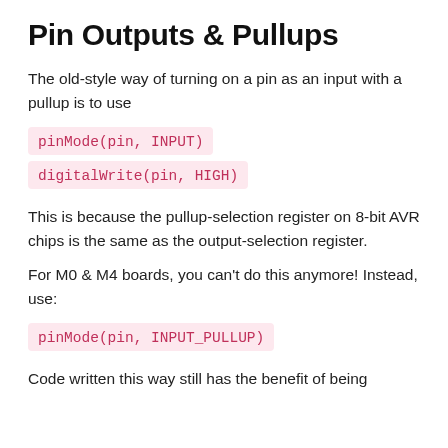Pin Outputs & Pullups
The old-style way of turning on a pin as an input with a pullup is to use
pinMode(pin, INPUT)
digitalWrite(pin, HIGH)
This is because the pullup-selection register on 8-bit AVR chips is the same as the output-selection register.
For M0 & M4 boards, you can't do this anymore! Instead, use:
pinMode(pin, INPUT_PULLUP)
Code written this way still has the benefit of being